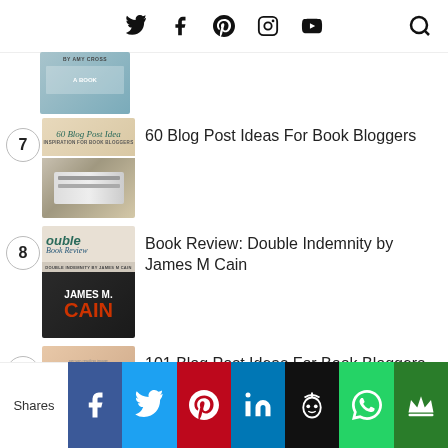Navigation bar with social icons (Twitter, Facebook, Pinterest, Instagram, YouTube) and search
[Figure (screenshot): Partial thumbnail for item 6 - book/blog post thumbnail with teal overlay and text]
7 — 60 Blog Post Ideas For Book Bloggers
[Figure (screenshot): Thumbnail for item 7: 60 Blog Post Ideas for Book Bloggers - shows italic title text with keyboard/hands image]
8 — Book Review: Double Indemnity by James M Cain
[Figure (screenshot): Thumbnail for item 8: Book Review Double Indemnity by James M Cain - shows book cover with orange-red text]
9 — 101 Blog Post Ideas For Book Bloggers
[Figure (screenshot): Thumbnail for item 9: 101 Blog Post Ideas for Book Bloggers - shows italic title with person reading]
Shares | Facebook | Twitter | Pinterest | LinkedIn | Buffer | WhatsApp | Crown